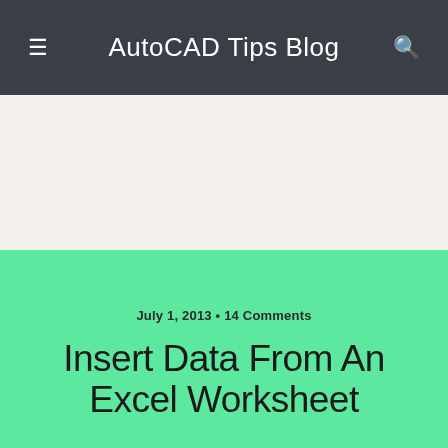AutoCAD Tips Blog
July 1, 2013 • 14 Comments
Insert Data From An Excel Worksheet
Share  Tweet  Pin  Mail  SMS